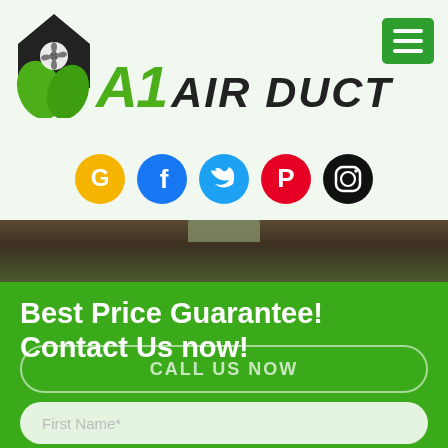[Figure (logo): A1 Air Duct logo with house/fan/leaf icon and green italic text]
[Figure (other): Green hamburger menu button in top right corner]
[Figure (other): Row of 5 social media icons: Google (yellow), Facebook (blue), Twitter (light blue), Pinterest (red), Instagram (black)]
[Figure (photo): Dark brown roof/shingle photo as a horizontal band]
Best Price Guarantee! Contact Us now!
CALL US NOW
First Name*